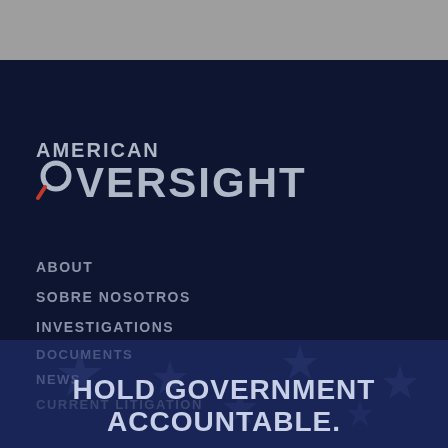[Figure (logo): American Oversight logo with magnifying glass icon, white/gray text on dark navy background]
ABOUT
SOBRE NOSOTROS
INVESTIGATIONS
DOCUMENTS
NEWS
CURRENT LITIGATION
HOLD GOVERNMENT ACCOUNTABLE.